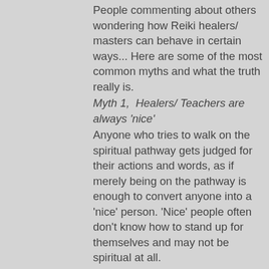People commenting about others wondering how Reiki healers/masters can behave in certain ways... Here are some of the most common myths and what the truth really is.
Myth 1,  Healers/ Teachers are always 'nice'
Anyone who tries to walk on the spiritual pathway gets judged for their actions and words, as if merely being on the pathway is enough to convert anyone into a 'nice' person. 'Nice' people often don't know how to stand up for themselves and may not be spiritual at all.
If we really want to know whether a person has evolved, we need to compare them to their previous selves, and that is what gives us real